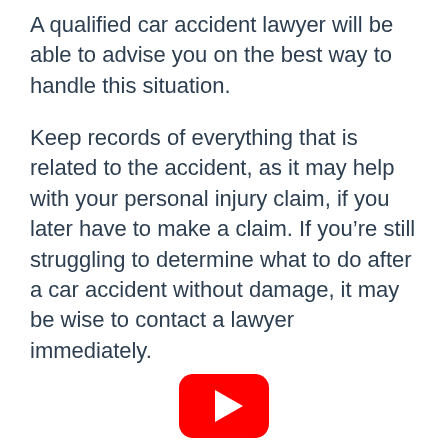A qualified car accident lawyer will be able to advise you on the best way to handle this situation.
Keep records of everything that is related to the accident, as it may help with your personal injury claim, if you later have to make a claim. If you're still struggling to determine what to do after a car accident without damage, it may be wise to contact a lawyer immediately.
[Figure (logo): YouTube play button logo — red rounded rectangle with white triangle play icon]